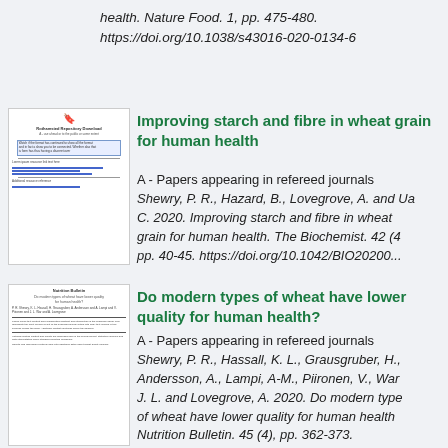health. Nature Food. 1, pp. 475-480. https://doi.org/10.1038/s43016-020-0134-6
[Figure (screenshot): Thumbnail of academic paper page with document icon, highlighted box, and blue underlined links]
Improving starch and fibre in wheat grain for human health
A - Papers appearing in refereed journals
Shewry, P. R., Hazard, B., Lovegrove, A. and Ua C. 2020. Improving starch and fibre in wheat grain for human health. The Biochemist. 42 (4 pp. 40-45. https://doi.org/10.1042/BIO20200...
[Figure (screenshot): Thumbnail of academic paper with title 'Do modern types of wheat have lower quality for human health?' and multi-column text layout]
Do modern types of wheat have lower quality for human health?
A - Papers appearing in refereed journals
Shewry, P. R., Hassall, K. L., Grausgruber, H., Andersson, A., Lampi, A-M., Piironen, V., War J. L. and Lovegrove, A. 2020. Do modern type of wheat have lower quality for human health. Nutrition Bulletin. 45 (4), pp. 362-373. https://doi.org/10.1111/nbu.12461